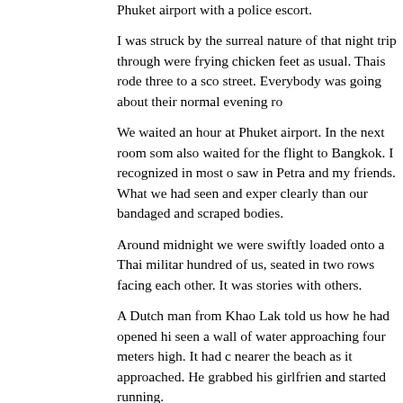Phuket airport with a police escort.
I was struck by the surreal nature of that night trip through were frying chicken feet as usual. Thais rode three to a sco street. Everybody was going about their normal evening ro
We waited an hour at Phuket airport. In the next room som also waited for the flight to Bangkok. I recognized in most o saw in Petra and my friends. What we had seen and exper clearly than our bandaged and scraped bodies.
Around midnight we were swiftly loaded onto a Thai militar hundred of us, seated in two rows facing each other. It was stories with others.
A Dutch man from Khao Lak told us how he had opened hi seen a wall of water approaching four meters high. It had c nearer the beach as it approached. He grabbed his girlfrien and started running.
They were saved only because they could not afford the ex bungalows. They had been near the point when the beach slowing and then halting the wave.
It was this story that erased all thoughts of possessions. As had all I needed; my life, my girlfriend and my friends sleep other.
Sunday, December 26
My girlfriend Petra and I had been spending the 10 days leading up to Christmas on Surin Neua island in the Andaman sea.
[Figure (photo): Small thumbnail image placeholder with arrow indicator]